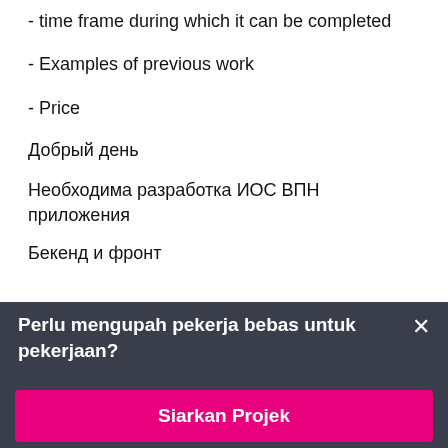- time frame during which it can be completed
- Examples of previous work
- Price
Добрый день
Необходима разработка ИОС ВПН приложения
Бекенд и фронт
Perlu mengupah pekerja bebas untuk pekerjaan?
Siarkan Projek